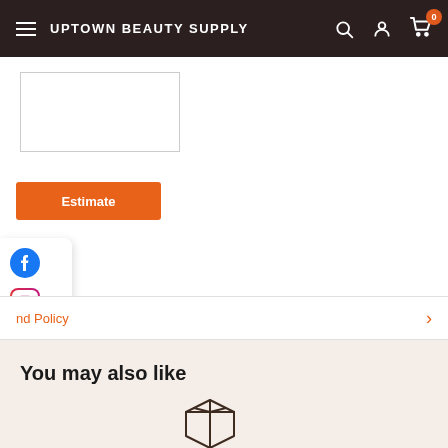UPTOWN BEAUTY SUPPLY
[Figure (screenshot): Product image placeholder box (white rectangle with border)]
Estimate
[Figure (other): Social media floating widget with Facebook and Instagram icons]
nd Policy
You may also like
[Figure (illustration): Package/box icon outline]